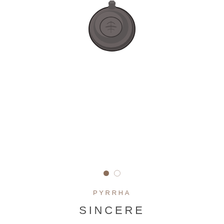[Figure (photo): A circular wax seal charm/pendant shown from above, dark pewter/silver tone with an engraved design, photographed on white background]
[Figure (other): Two navigation dots — one filled brownish-tan, one empty circle outline]
PYRRHA
SINCERE